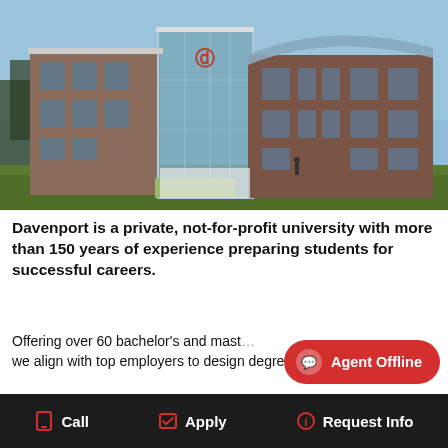[Figure (photo): Exterior photo of Davenport University building — modern brick and glass facade with a curved glass upper floor featuring the university logo (DU in red). Blue sky in background, green lawn in foreground.]
Davenport is a private, not-for-profit university with more than 150 years of experience preparing students for successful careers.
Offering over 60 bachelor's and mast… we align with top employers to design degree programs
Agent Offline
Call   Apply   Request Info